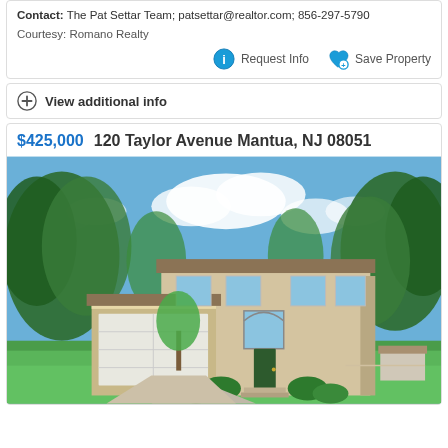Contact: The Pat Settar Team; patsettar@realtor.com; 856-297-5790
Courtesy: Romano Realty
Request Info   Save Property
View additional info
$425,000   120 Taylor Avenue Mantua, NJ 08051
[Figure (photo): Exterior photo of a two-story residential home at 120 Taylor Avenue, Mantua NJ. The house has a beige/tan exterior with a two-car attached garage on the left, an arched window above the front door, and is surrounded by large green trees and a well-maintained lawn under a partly cloudy sky.]